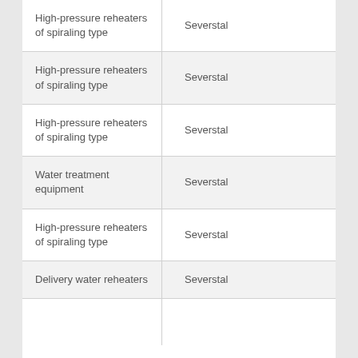| High-pressure reheaters of spiraling type | Severstal |
| High-pressure reheaters of spiraling type | Severstal |
| High-pressure reheaters of spiraling type | Severstal |
| Water treatment equipment | Severstal |
| High-pressure reheaters of spiraling type | Severstal |
| Delivery water reheaters | Severstal |